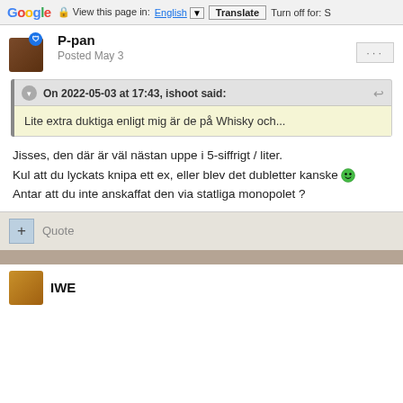Google  View this page in: English ▼  Translate  Turn off for: S
P-pan
Posted May 3
On 2022-05-03 at 17:43, ishoot said:
Lite extra duktiga enligt mig är de på Whisky och...
Jisses, den där är väl nästan uppe i 5-siffrigt / liter.
Kul att du lyckats knipa ett ex, eller blev det dubletter kanske 😊
Antar att du inte anskaffat den via statliga monopolet ?
+ Quote
IWE